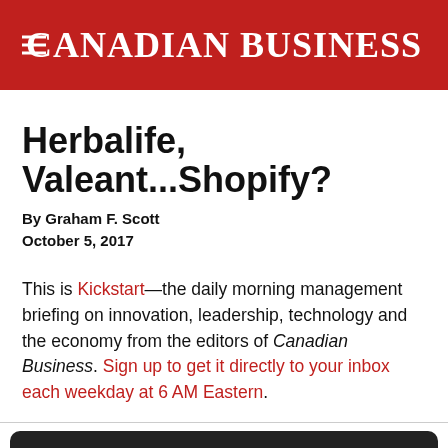CANADIAN BUSINESS
Herbalife, Valeant...Shopify?
By Graham F. Scott
October 5, 2017
This is Kickstart—the daily morning management briefing on innovation, leadership, technology and the economy from the editors of Canadian Business. Sign up to get it directly to your inbox each weekday at 6 AM Eastern.
We use cookies (why?) You can change cookie preferences. Continued site use